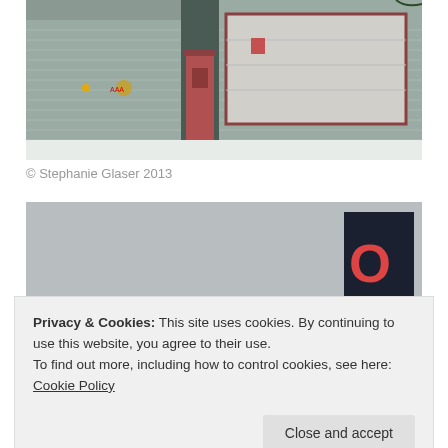[Figure (photo): Exterior of a metal building/auto shop with grey siding, a red entry door in the center, a large white garage door on the right, and snow on the ground. AAA sign and other signage visible on the wall.]
© Stephanie Glaser 2013
[Figure (photo): Outdoor sign with letters 'O' and 'T' visible against a grey overcast sky, with rooftop and building structure below.]
Privacy & Cookies: This site uses cookies. By continuing to use this website, you agree to their use.
To find out more, including how to control cookies, see here: Cookie Policy